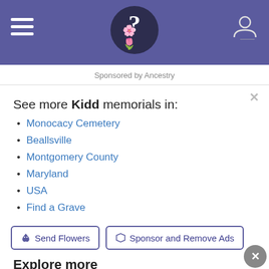Find a Grave header with hamburger menu, logo, and user icon
Sponsored by Ancestry
See more Kidd memorials in:
Monocacy Cemetery
Beallsville
Montgomery County
Maryland
USA
Find a Grave
Send Flowers | Sponsor and Remove Ads
Explore more
Walter Kidd in Newspapers